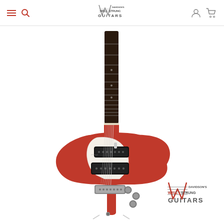Davidson's Well Strung Guitars — navigation header with hamburger menu, search, logo, user account, and cart icons
[Figure (photo): A red electric guitar (Firebird-style body) with a white pickguard, two humbucker pickups, chrome hardware, dark rosewood fretboard, and chrome tailpiece/bridge, displayed upright against a white background]
[Figure (logo): Davidson's Well Strung Guitars logo — stylized W with guitar strings, text reading DAVIDSON'S WELL STRUNG GUITARS in red and black]